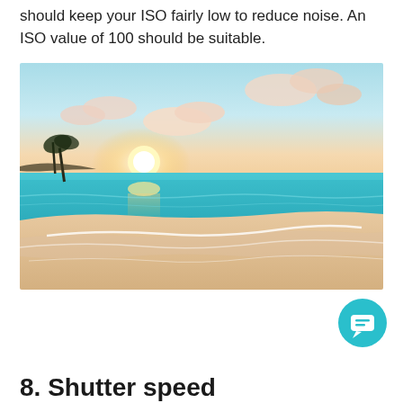should keep your ISO fairly low to reduce noise. An ISO value of 100 should be suitable.
[Figure (photo): A beach sunset scene with turquoise ocean water, gentle waves on sandy shore, palm trees silhouetted on the left, sun setting on the horizon with pink and orange clouds]
[Figure (other): Teal circular chat button with a chat bubble icon]
8. Shutter speed